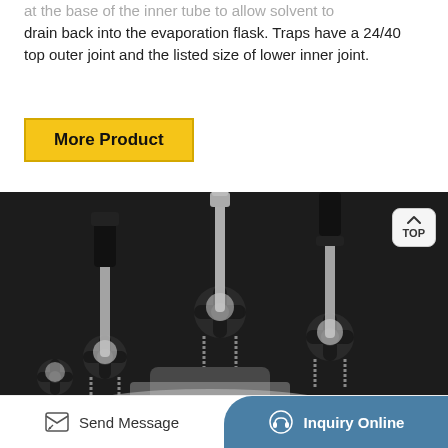at the base of the inner tube to allow solvent to drain back into the evaporation flask. Traps have a 24/40 top outer joint and the listed size of lower inner joint.
[Figure (other): Yellow button labeled 'More Product']
[Figure (photo): Close-up photograph of laboratory glassware assembly showing multiple glass trap tubes with black star-shaped clamp fittings and metal spring screws, arranged on a white flask base. A 'TOP' navigation button is visible in the upper right of the image.]
Send Message
Inquiry Online